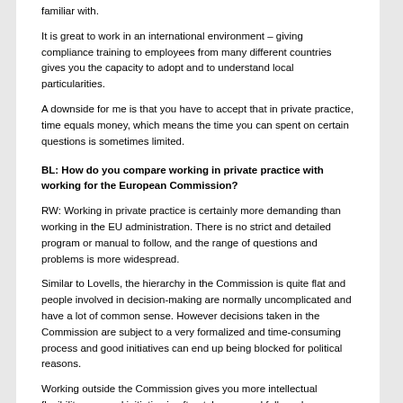familiar with.
It is great to work in an international environment – giving compliance training to employees from many different countries gives you the capacity to adopt and to understand local particularities.
A downside for me is that you have to accept that in private practice, time equals money, which means the time you can spent on certain questions is sometimes limited.
BL: How do you compare working in private practice with working for the European Commission?
RW: Working in private practice is certainly more demanding than working in the EU administration. There is no strict and detailed program or manual to follow, and the range of questions and problems is more widespread.
Similar to Lovells, the hierarchy in the Commission is quite flat and people involved in decision-making are normally uncomplicated and have a lot of common sense. However decisions taken in the Commission are subject to a very formalized and time-consuming process and good initiatives can end up being blocked for political reasons.
Working outside the Commission gives you more intellectual flexibility – a good initiative is often taken up and followed up upon in very short time...